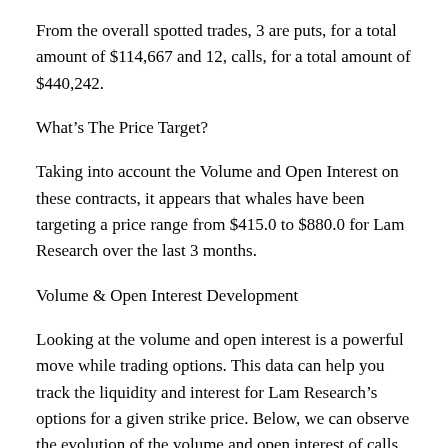From the overall spotted trades, 3 are puts, for a total amount of $114,667 and 12, calls, for a total amount of $440,242.
What’s The Price Target?
Taking into account the Volume and Open Interest on these contracts, it appears that whales have been targeting a price range from $415.0 to $880.0 for Lam Research over the last 3 months.
Volume & Open Interest Development
Looking at the volume and open interest is a powerful move while trading options. This data can help you track the liquidity and interest for Lam Research’s options for a given strike price. Below, we can observe the evolution of the volume and open interest of calls